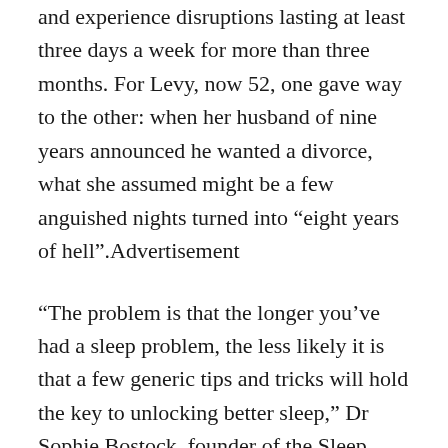and experience disruptions lasting at least three days a week for more than three months. For Levy, now 52, one gave way to the other: when her husband of nine years announced he wanted a divorce, what she assumed might be a few anguished nights turned into “eight years of hell”.Advertisement
“The problem is that the longer you’ve had a sleep problem, the less likely it is that a few generic tips and tricks will hold the key to unlocking better sleep,” Dr Sophie Bostock, founder of the Sleep Scientist, writes in the foreword to The Insomnia Diaries. Regularly struggling to get to sleep, lying awake for extended periods, feeling exhausted on waking and difficulty maintaining concentration, energy levels and even relationships are all telltale signs that trouble is afoot.